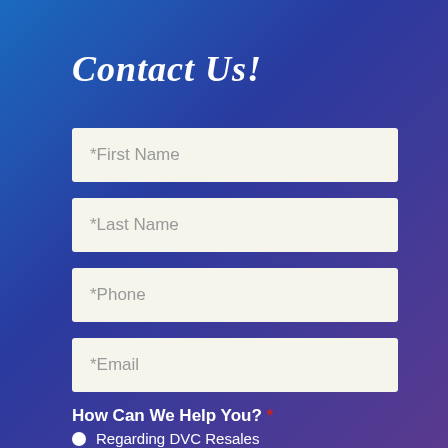Contact Us!
*First Name
*Last Name
*Phone
*Email
How Can We Help You? *
Regarding DVC Resales